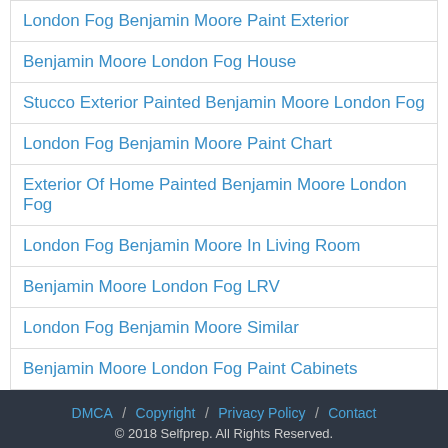London Fog Benjamin Moore Paint Exterior
Benjamin Moore London Fog House
Stucco Exterior Painted Benjamin Moore London Fog
London Fog Benjamin Moore Paint Chart
Exterior Of Home Painted Benjamin Moore London Fog
London Fog Benjamin Moore In Living Room
Benjamin Moore London Fog LRV
London Fog Benjamin Moore Similar
Benjamin Moore London Fog Paint Cabinets
DMCA / Copyright / Privacy Policy / Contact © 2018 Selfprep. All Rights Reserved.